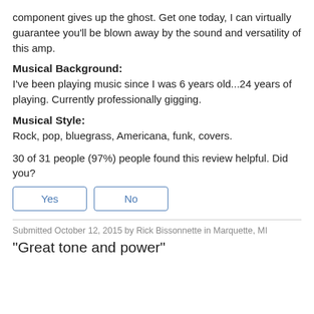component gives up the ghost. Get one today, I can virtually guarantee you'll be blown away by the sound and versatility of this amp.
Musical Background:
I've been playing music since I was 6 years old...24 years of playing. Currently professionally gigging.
Musical Style:
Rock, pop, bluegrass, Americana, funk, covers.
30 of 31 people (97%) people found this review helpful. Did you?
[Figure (other): Yes and No buttons for review helpfulness]
Submitted October 12, 2015 by Rick Bissonnette in Marquette, MI
"Great tone and power"